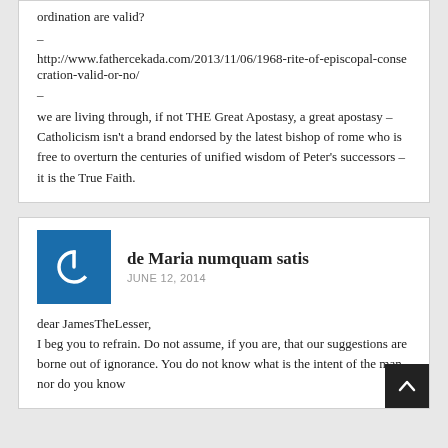ordination are valid?
–
http://www.fathercekada.com/2013/11/06/1968-rite-of-episcopal-consecration-valid-or-no/
–
we are living through, if not THE Great Apostasy, a great apostasy – Catholicism isn't a brand endorsed by the latest bishop of rome who is free to overturn the centuries of unified wisdom of Peter's successors – it is the True Faith.
de Maria numquam satis
JUNE 12, 2014
dear JamesTheLesser,
I beg you to refrain. Do not assume, if you are, that our suggestions are borne out of ignorance. You do not know what is the intent of the man nor do you know